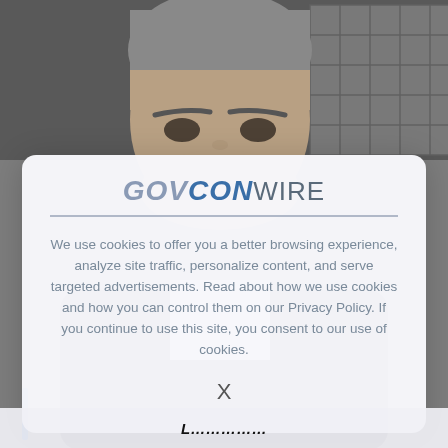[Figure (photo): Background photo of a middle-aged man with gray hair, partially visible, behind a modal dialog. Building with grid pattern visible in upper right.]
[Figure (logo): GovConWire logo — stylized text with GOV in gray italic, CON in blue italic, WIRE in gray normal weight, with a horizontal rule beneath.]
We use cookies to offer you a better browsing experience, analyze site traffic, personalize content, and serve targeted advertisements. Read about how we use cookies and how you can control them on our Privacy Policy. If you continue to use this site, you consent to our use of cookies.
X
L